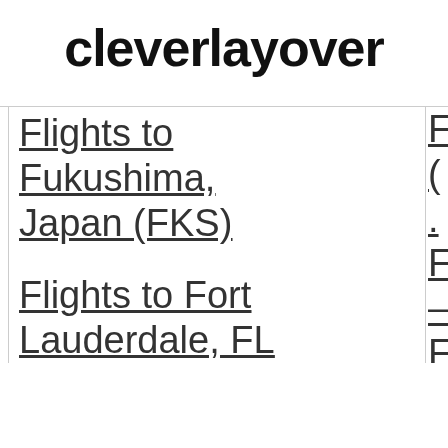cleverlayover
Flights to Fukushima, Japan (FKS)
Flights to Fort Lauderdale, FL